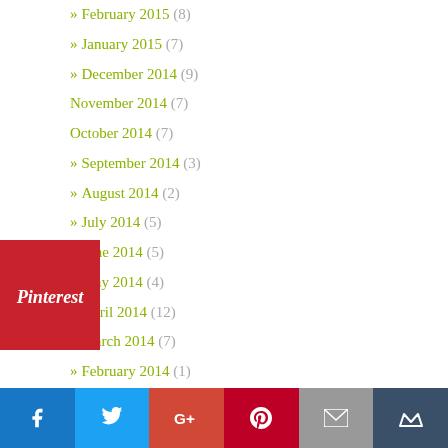» February 2015 (8)
» January 2015 (7)
» December 2014 (9)
November 2014 (7)
October 2014 (7)
» September 2014 (3)
» August 2014 (2)
» July 2014 (5)
» June 2014 (5)
» May 2014 (4)
» April 2014 (12)
» March 2014 (7)
» February 2014 (1)
[Figure (logo): Pinterest logo badge (red background with white Pinterest wordmark/script)]
[Figure (infographic): Social media sharing bar with icons for Facebook, Twitter, Google+, Pinterest, Email, and a crown icon]